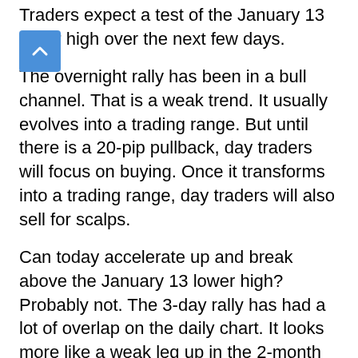Traders expect a test of the January 13 lower high over the next few days.
The overnight rally has been in a bull channel. That is a weak trend. It usually evolves into a trading range. But until there is a 20-pip pullback, day traders will focus on buying. Once it transforms into a trading range, day traders will also sell for scalps.
Can today accelerate up and break above the January 13 lower high? Probably not. The 3-day rally has had a lot of overlap on the daily chart. It looks more like a weak leg up in the 2-month trading range on the daily chart, rather than the start of a bull trend.
What about a reversal down today? It is trading just above yesterday's high, and yesterday was a bear day on the daily chart. That is not a good buy signal bar. It could reverse down, but traders really want to see what will